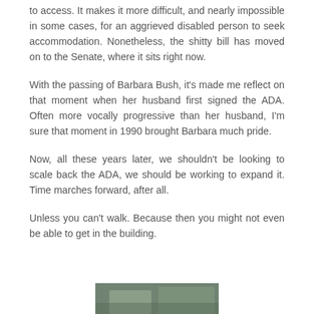to access. It makes it more difficult, and nearly impossible in some cases, for an aggrieved disabled person to seek accommodation. Nonetheless, the shitty bill has moved on to the Senate, where it sits right now.
With the passing of Barbara Bush, it's made me reflect on that moment when her husband first signed the ADA. Often more vocally progressive than her husband, I'm sure that moment in 1990 brought Barbara much pride.
Now, all these years later, we shouldn't be looking to scale back the ADA, we should be working to expand it. Time marches forward, after all.
Unless you can't walk. Because then you might not even be able to get in the building.
[Figure (photo): Partial photograph visible at bottom of page, appears to show an outdoor scene]